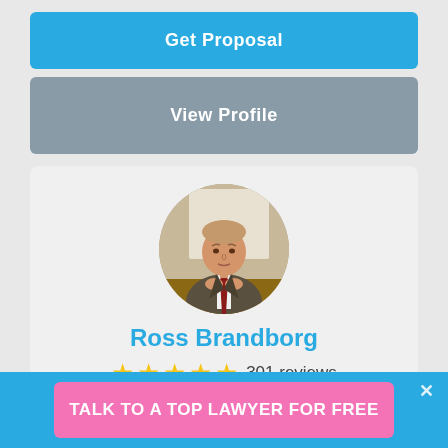Get Proposal
View Profile
[Figure (photo): Circular profile photo of Ross Brandborg, a man in a suit and red tie seated at a desk]
Ross Brandborg
★★★★★ 301 reviews
Ross Brandborg is an attorney at law with more than 12 years...
TALK TO A TOP LAWYER FOR FREE